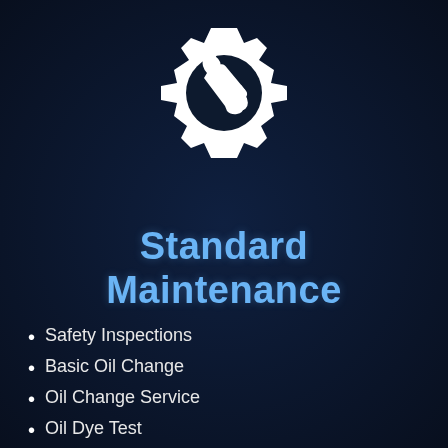[Figure (illustration): White gear/cog icon with a wrench inside, on dark navy background]
Standard Maintenance
Safety Inspections
Basic Oil Change
Oil Change Service
Oil Dye Test
Condition Based Service – CBS
Inspection and S...